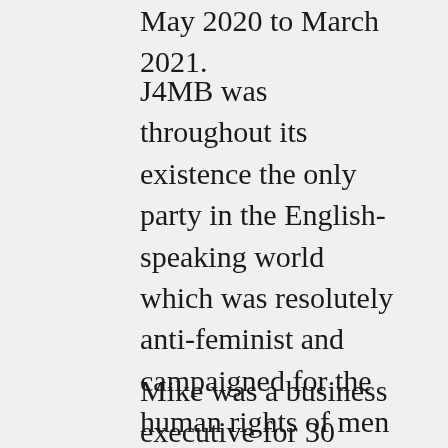May 2020 to March 2021.
J4MB was throughout its existence the only party in the English-speaking world which was resolutely anti-feminist and campaigned for the human rights of men and boys on many fronts. Those rights are assaulted by states' actions and inactions in many areas, almost always to privilege women and girls. 20 such areas were explored in the party's 2015 general election manifesto.
Mike was a business executive for 30 years before taking early retirement in 2010. He's written 10 books and is also a